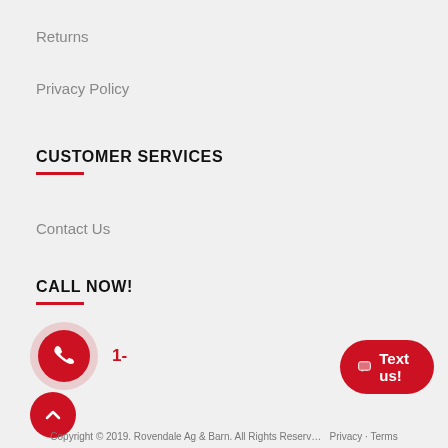Returns
Privacy Policy
CUSTOMER SERVICES
Contact Us
CALL NOW!
[Figure (infographic): Red phone icon button with outer pink halo ring, beside a partially visible phone number starting with 1-]
[Figure (infographic): White chat bubble popup with text 'Have a question? Text us here!' and a red X close button]
[Figure (infographic): Red circular scroll-to-top button with upward chevron arrow]
[Figure (infographic): Red pill-shaped 'Text us!' button with chat bubble icon]
Copyright © 2019. Rovendale Ag & Barn. All Rights Reserved.   Privacy - Terms